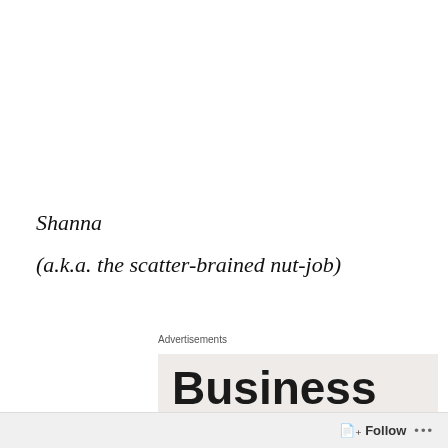Shanna
(a.k.a.  the scatter-brained nut-job)
Advertisements
[Figure (other): Advertisement banner showing bold large text 'Business in the front...' on a light beige/grey background]
Privacy & Cookies: This site uses cookies. By continuing to use this website, you agree to their use.
To find out more, including how to control cookies, see here: Cookie Policy
Close and accept